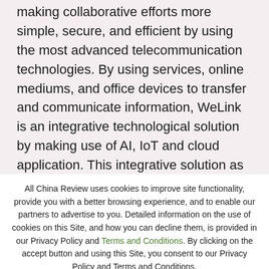making collaborative efforts more simple, secure, and efficient by using the most advanced telecommunication technologies. By using services, online mediums, and office devices to transfer and communicate information, WeLink is an integrative technological solution by making use of AI, IoT and cloud application. This integrative solution as such represents the perfect example of a company bringing its technology applications together into an innovative product that empowers employees. In
All China Review uses cookies to improve site functionality, provide you with a better browsing experience, and to enable our partners to advertise to you. Detailed information on the use of cookies on this Site, and how you can decline them, is provided in our Privacy Policy and Terms and Conditions. By clicking on the accept button and using this Site, you consent to our Privacy Policy and Terms and Conditions.